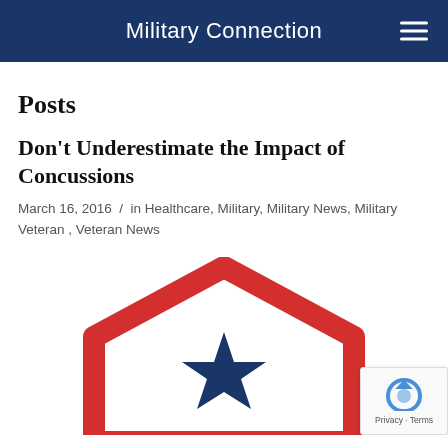Military Connection
Posts
Don't Underestimate the Impact of Concussions
March 16, 2016 / in Healthcare, Military, Military News, Military Veteran, Veteran News
[Figure (logo): Military Connection logo — a red pentagon/house shape outline with a blue star in the center on white background]